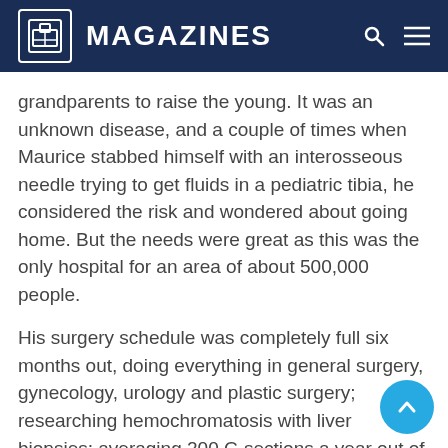MAGAZINES
grandparents to raise the young. It was an unknown disease, and a couple of times when Maurice stabbed himself with an interosseous needle trying to get fluids in a pediatric tibia, he considered the risk and wondered about going home. But the needs were great as this was the only hospital for an area of about 500,000 people.
His surgery schedule was completely full six months out, doing everything in general surgery, gynecology, urology and plastic surgery; researching hemochromatosis with liver biopsies; averaging 200 C-sections a year out of the 2,000 annual deliveries at the hospital; and seeing pediatric and internal medicine patients in the afternoon. There was enough work to keep